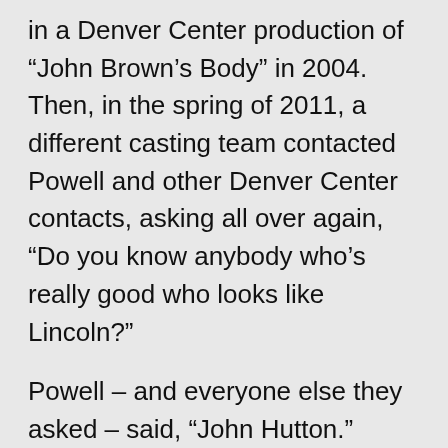in a Denver Center production of “John Brown’s Body” in 2004. Then, in the spring of 2011, a different casting team contacted Powell and other Denver Center contacts, asking all over again, “Do you know anybody who’s really good who looks like Lincoln?”
Powell – and everyone else they asked – said, “John Hutton.”
“But here’s the joke: John hates to be told he looks like Lincoln,” Powell said with a laugh. He got over it.
Hutton was sent script excerpts (called “sides”